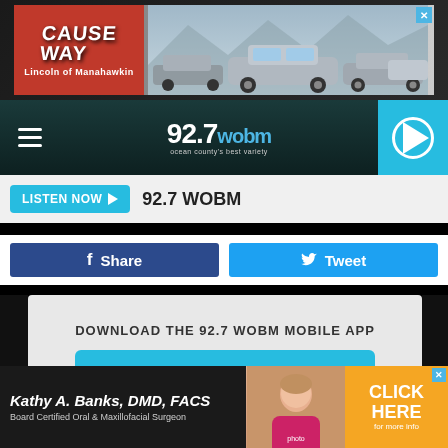[Figure (other): Causeway Lincoln of Manahawkin advertisement banner with red logo and cars]
[Figure (other): 92.7 WOBM radio station navigation bar with hamburger menu and play button]
LISTEN NOW ▶   92.7 WOBM
f Share   🐦 Tweet
DOWNLOAD THE 92.7 WOBM MOBILE APP
GET OUR FREE MOBILE APP
Also listen on:  amazon alexa
[Figure (other): Kathy A. Banks DMD FACS advertisement - Board Certified Oral & Maxillofacial Surgeon with CLICK HERE button]